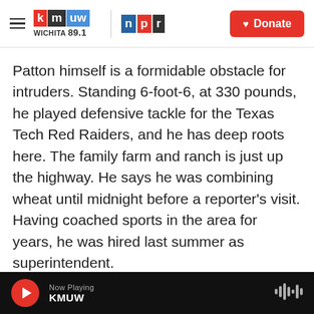KMUW Wichita 89.1 | NPR | Donate
Patton himself is a formidable obstacle for intruders. Standing 6-foot-6, at 330 pounds, he played defensive tackle for the Texas Tech Red Raiders, and he has deep roots here. The family farm and ranch is just up the highway. He says he was combining wheat until midnight before a reporter's visit. Having coached sports in the area for years, he was hired last summer as superintendent.
Since the Uvalde tragedy, Patton says he's been answering lots of calls about Harrold's very public
Now Playing KMUW